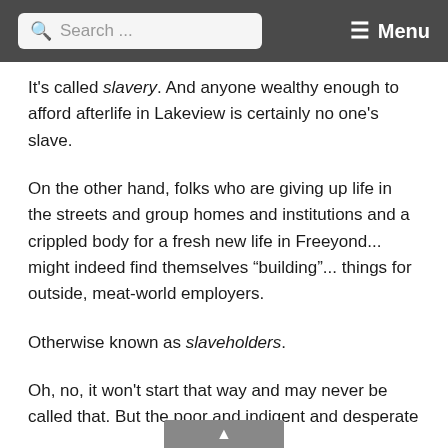Search ... Menu
It's called slavery. And anyone wealthy enough to afford afterlife in Lakeview is certainly no one's slave.
On the other hand, folks who are giving up life in the streets and group homes and institutions and a crippled body for a fresh new life in Freeyond... might indeed find themselves "building"... things for outside, meat-world employers.
Otherwise known as slaveholders.
Oh, no, it won't start that way and may never be called that. But the poor and indigent and desperate